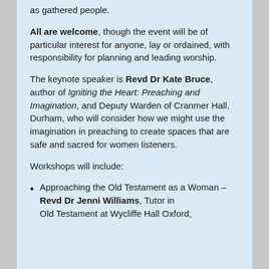as gathered people.
All are welcome, though the event will be of particular interest for anyone, lay or ordained, with responsibility for planning and leading worship.
The keynote speaker is Revd Dr Kate Bruce, author of Igniting the Heart: Preaching and Imagination, and Deputy Warden of Cranmer Hall, Durham, who will consider how we might use the imagination in preaching to create spaces that are safe and sacred for women listeners.
Workshops will include:
Approaching the Old Testament as a Woman – Revd Dr Jenni Williams, Tutor in Old Testament at Wycliffe Hall Oxford,